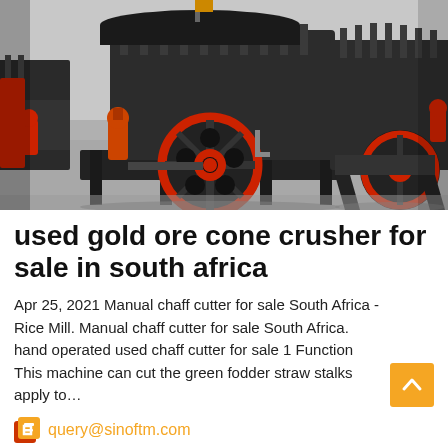[Figure (photo): Industrial cone crushers for gold ore processing, showing multiple large dark grey machines with red/orange components including flywheels, springs, and hydraulic cylinders, arranged in an industrial warehouse/yard setting.]
used gold ore cone crusher for sale in south africa
Apr 25, 2021 Manual chaff cutter for sale South Africa - Rice Mill. Manual chaff cutter for sale South Africa. hand operated used chaff cutter for sale 1 Function This machine can cut the green fodder straw stalks apply to...
query@sinoftm.com